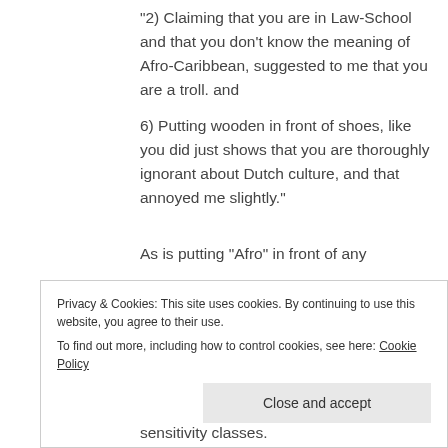“2) Claiming that you are in Law-School and that you don’t know the meaning of Afro-Caribbean, suggested to me that you are a troll. and 6) Putting wooden in front of shoes, like you did just shows that you are thoroughly ignorant about Dutch culture, and that annoyed me slightly.”
As is putting “Afro” in front of any
Privacy & Cookies: This site uses cookies. By continuing to use this website, you agree to their use. To find out more, including how to control cookies, see here: Cookie Policy
Close and accept
sensitivity classes.